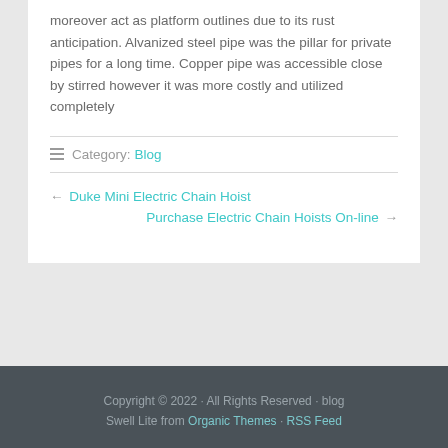moreover act as platform outlines due to its rust anticipation. Alvanized steel pipe was the pillar for private pipes for a long time. Copper pipe was accessible close by stirred however it was more costly and utilized completely
Category: Blog
← Duke Mini Electric Chain Hoist
Purchase Electric Chain Hoists On-line →
Copyright © 2022 · All Rights Reserved · blog Swell Lite from Organic Themes · RSS Feed